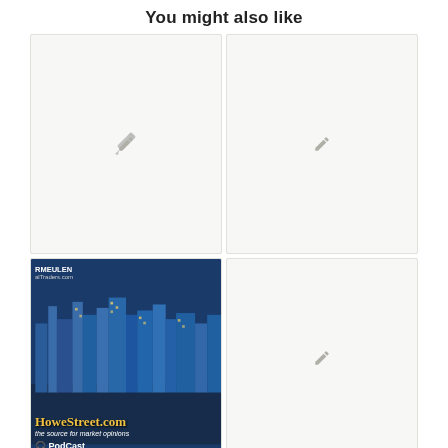You might also like
[Figure (other): Placeholder card with pencil icon (top left)]
[Figure (other): Placeholder card with pencil icon (top right)]
[Figure (photo): HoweStreet.com podcast thumbnail: city skyline at night with text 'RMEULEN', 'alTraders.com', 'HoweStreet.com', 'the source for market opinions', and PodCast logo with headphone icon]
[Figure (other): Placeholder card with pencil icon (middle right)]
[Figure (other): Placeholder card (bottom left, partial)]
[Figure (other): Placeholder card (bottom right, partial)]